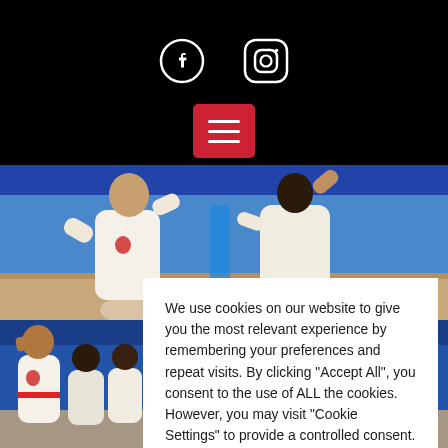Social media icons (Facebook, Instagram) and hamburger menu button on black background
[Figure (photo): Martial arts students in white gi uniforms sparring/practicing taekwondo in a gymnasium with blue walls]
[Figure (photo): Children in white gi uniforms cheering and practicing taekwondo in a gymnasium with blue walls]
We use cookies on our website to give you the most relevant experience by remembering your preferences and repeat visits. By clicking "Accept All", you consent to the use of ALL the cookies. However, you may visit "Cookie Settings" to provide a controlled consent.
Cookie Settings | Accept All